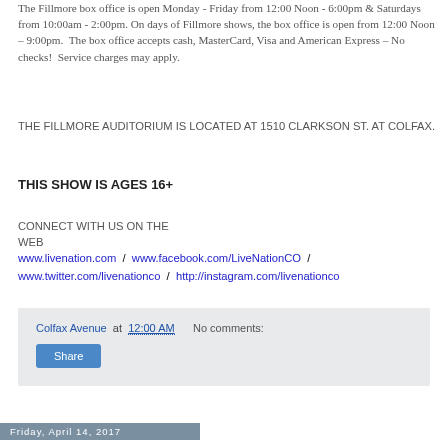The Fillmore box office is open Monday - Friday from 12:00 Noon - 6:00pm & Saturdays from 10:00am - 2:00pm. On days of Fillmore shows, the box office is open from 12:00 Noon – 9:00pm. The box office accepts cash, MasterCard, Visa and American Express – No checks! Service charges may apply.
THE FILLMORE AUDITORIUM IS LOCATED AT 1510 CLARKSON ST. AT COLFAX.
THIS SHOW IS AGES 16+
CONNECT WITH US ON THE WEB
www.livenation.com / www.facebook.com/LiveNationCO / www.twitter.com/livenationco / http://instagram.com/livenationco
Colfax Avenue at 12:00 AM   No comments:
Share
Friday, April 14, 2017